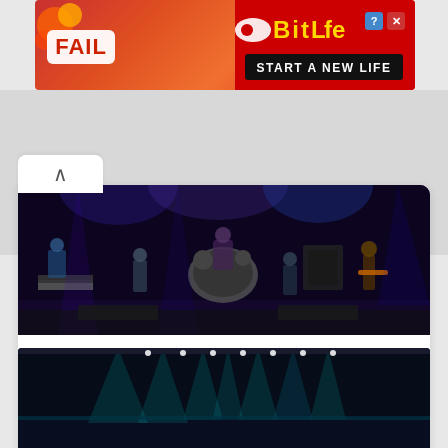[Figure (illustration): BitLife mobile game advertisement banner with 'FAIL' text on left, cartoon character, flames, and 'BitLife - START A NEW LIFE' on right against red background]
[Figure (photo): A rock band performing on stage in a dark venue. Multiple musicians visible including guitarists, drummer, and keyboard player under stage lighting.]
Brad is an American rock band that formed in Seattle, Washington in 1992. Their sound was influenced by the wide
[Figure (photo): Empty concert stage with teal/blue stage lighting beams shining down and stage lights along the top edge, dark background]